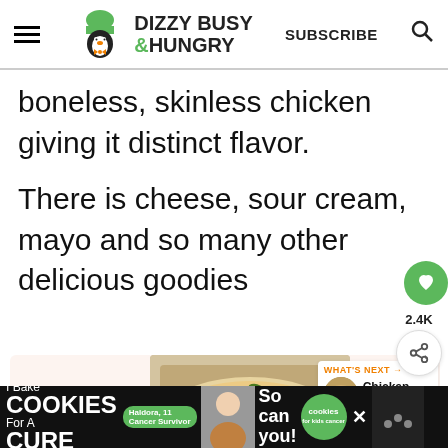DIZZY BUSY & HUNGRY | SUBSCRIBE
boneless, skinless chicken giving it distinct flavor.
There is cheese, sour cream, mayo and so many other delicious goodies
[Figure (photo): Food photo of a baked chicken dish with cheese topping, garnished with basil, shown inside a light-pink background content box. A 'WHAT'S NEXT' panel shows a circular food thumbnail labeled 'Chicken Potato Bake'.]
[Figure (screenshot): Advertisement banner at bottom: 'I Bake COOKIES For A CURE' campaign featuring a woman, 'So can you!' text, a green cookies badge, and dark close buttons.]